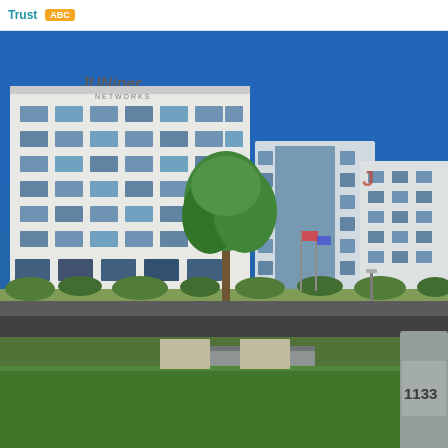Trust | ABC
[Figure (photo): Exterior photograph of Juniper Networks corporate campus headquarters buildings. Multi-story modern white office buildings with blue glass windows. The main building prominently displays the Juniper Networks logo. Green landscaped lawn in foreground with trees and planters. A large monument sign shows '1133'. Clear blue sky backdrop. Sunnyvale, California.]